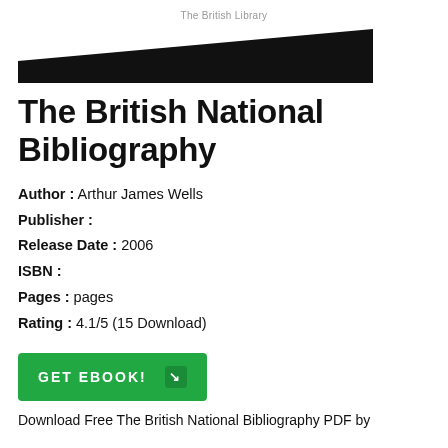The British Library
[Figure (illustration): Black banner/logo image for The British Library, partially obscured/redacted]
The British National Bibliography
Author : Arthur James Wells
Publisher :
Release Date : 2006
ISBN :
Pages : pages
Rating : 4.1/5 (15 Download)
[Figure (other): GET EBOOK! button with arrow icon, green background]
Download Free The British National Bibliography PDF by